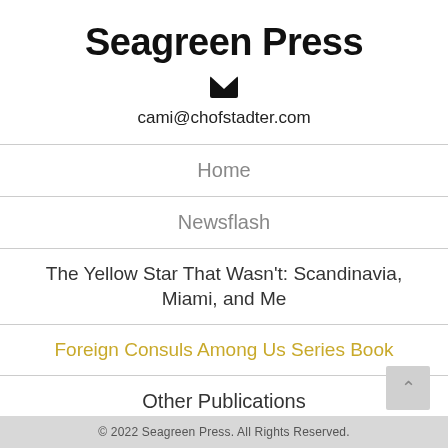Seagreen Press
cami@chofstadter.com
Home
Newsflash
The Yellow Star That Wasn't: Scandinavia, Miami, and Me
Foreign Consuls Among Us Series Book
Other Publications
Blog
© 2022 Seagreen Press. All Rights Reserved.